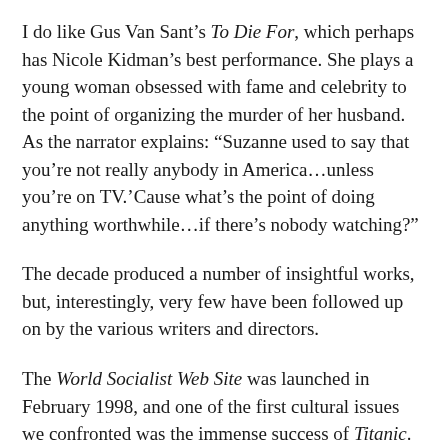I do like Gus Van Sant's To Die For, which perhaps has Nicole Kidman's best performance. She plays a young woman obsessed with fame and celebrity to the point of organizing the murder of her husband. As the narrator explains: “Suzanne used to say that you’re not really anybody in America…unless you’re on TV.’Cause what’s the point of doing anything worthwhile…if there’s nobody watching?”
The decade produced a number of insightful works, but, interestingly, very few have been followed up on by the various writers and directors.
The World Socialist Web Site was launched in February 1998, and one of the first cultural issues we confronted was the immense success of Titanic.